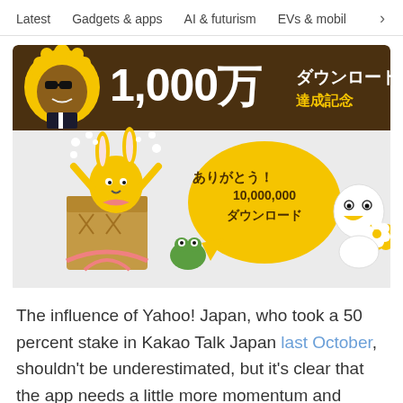Latest   Gadgets & apps   AI & futurism   EVs & mobil >
[Figure (illustration): Kakao Talk Japan 10 million downloads celebration banner. Top section: dark brown background with yellow circle character (cartoon figure in suit) on left, large white text '1,000万' and Japanese text 'ダウンロード 達成記念' on right. Bottom section: light grey background with cartoon characters celebrating, yellow speech bubble with text 'ありがとう! 10,000,000 ダウンロード'.]
The influence of Yahoo! Japan, who took a 50 percent stake in Kakao Talk Japan last October, shouldn't be underestimated, but it's clear that the app needs a little more momentum and public awareness before it can truly compete in the 'Land